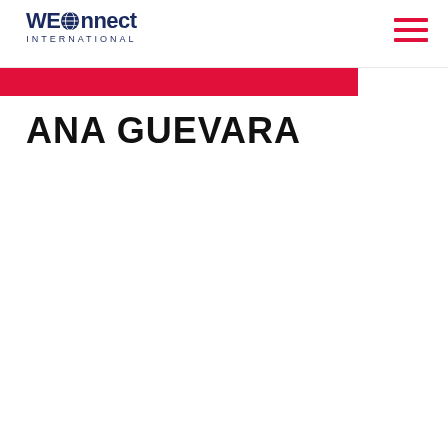WEConnect International
ANA GUEVARA